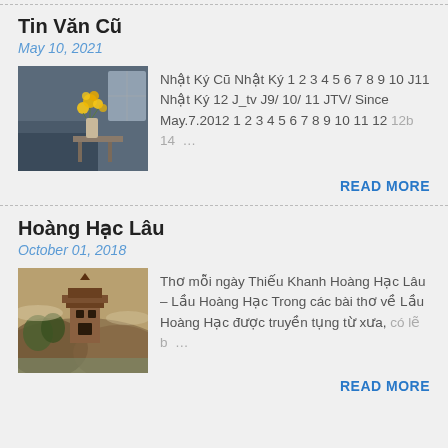Tin Văn Cũ
May 10, 2021
[Figure (photo): Photo of yellow flowers in a vase on a table with sofa in background]
Nhật Ký Cũ Nhật Ký 1 2 3 4 5 6 7 8 9 10 J11 Nhật Ký 12 J_tv J9/ 10/ 11 JTV/ Since May.7.2012 1 2 3 4 5 6 7 8 9 10 11 12 12b 14 …
READ MORE
Hoàng Hạc Lâu
October 01, 2018
[Figure (photo): Traditional Chinese painting showing a pavilion/tower in a landscape]
Thơ mỗi ngày Thiếu Khanh Hoàng Hạc Lâu – Lầu Hoàng Hạc Trong các bài thơ về Lầu Hoàng Hạc được truyền tụng từ xưa, có lẽ b …
READ MORE